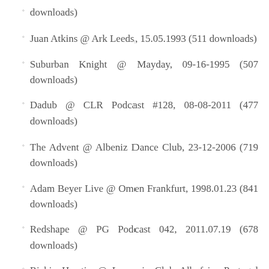downloads)
Juan Atkins @ Ark Leeds, 15.05.1993 (511 downloads)
Suburban Knight @ Mayday, 09-16-1995 (507 downloads)
Dadub @ CLR Podcast #128, 08-08-2011 (477 downloads)
The Advent @ Albeniz Dance Club, 23-12-2006 (719 downloads)
Adam Beyer Live @ Omen Frankfurt, 1998.01.23 (841 downloads)
Redshape @ PG Podcast 042, 2011.07.19 (678 downloads)
Richie Hawtin @ Locomia Club Albufeira Portugal 2003.08.20 (758 downloads)
Razaar @ Cyclic Podcast Episode Nr. 17